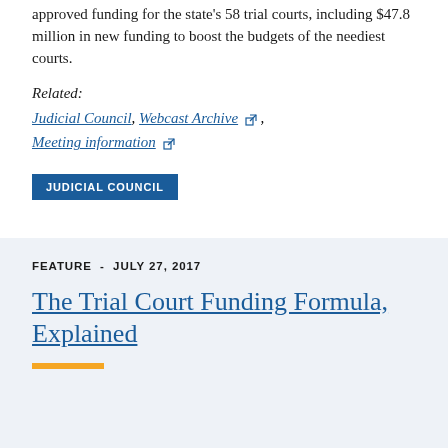approved funding for the state's 58 trial courts, including $47.8 million in new funding to boost the budgets of the neediest courts.
Related:
Judicial Council, Webcast Archive [external link], Meeting information [external link]
JUDICIAL COUNCIL
FEATURE - JULY 27, 2017
The Trial Court Funding Formula, Explained